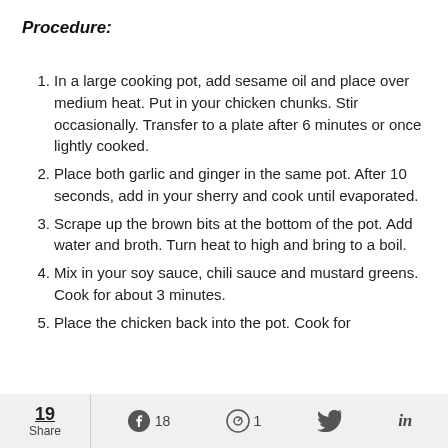Procedure:
In a large cooking pot, add sesame oil and place over medium heat. Put in your chicken chunks. Stir occasionally. Transfer to a plate after 6 minutes or once lightly cooked.
Place both garlic and ginger in the same pot. After 10 seconds, add in your sherry and cook until evaporated.
Scrape up the brown bits at the bottom of the pot. Add water and broth. Turn heat to high and bring to a boil.
Mix in your soy sauce, chili sauce and mustard greens. Cook for about 3 minutes.
Place the chicken back into the pot. Cook for
19 Share  18  1  (Twitter)  in